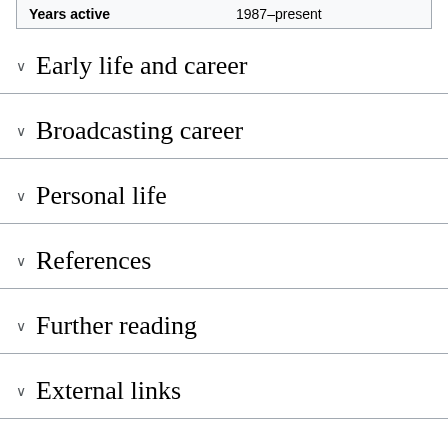| Years active |  |
| --- | --- |
| Years active | 1987–present |
Early life and career
Broadcasting career
Personal life
References
Further reading
External links